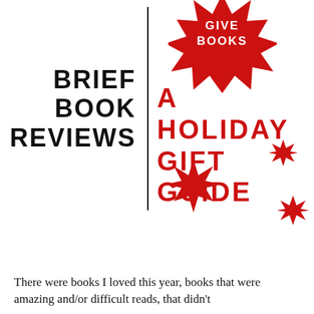BRIEF BOOK REVIEWS
A HOLIDAY GIFT GUIDE
[Figure (illustration): Red starburst/snowflake shapes decorating the right column. A large starburst at top-right contains text 'GIVE BOOKS'. A medium starburst and small starburst appear below.]
There were books I loved this year, books that were amazing and/or difficult reads, that didn't